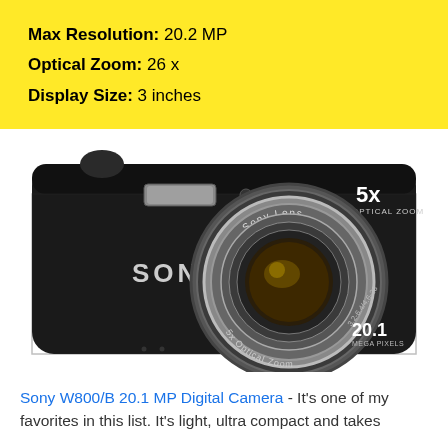Max Resolution: 20.2 MP
Optical Zoom: 26 x
Display Size: 3 inches
[Figure (photo): Sony W800/B 20.1 MP Digital Camera in black, showing front view with Sony Lens, 5x optical zoom marking, flash, and 3.2-6.4/4.6-23 lens specs]
Sony W800/B 20.1 MP Digital Camera - It's one of my favorites in this list. It's light, ultra compact and takes